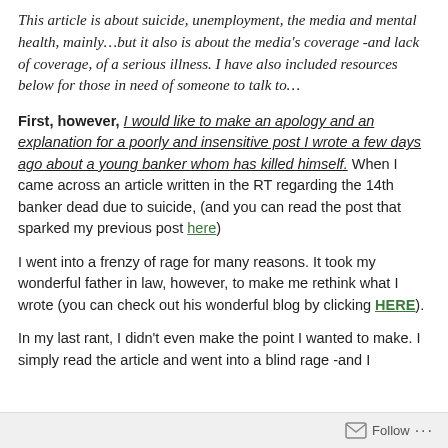This article is about suicide, unemployment, the media and mental health, mainly…but it also is about the media's coverage -and lack of coverage, of a serious illness. I have also included resources below for those in need of someone to talk to…
First, however, I would like to make an apology and an explanation for a poorly and insensitive post I wrote a few days ago about a young banker whom has killed himself. When I came across an article written in the RT regarding the 14th banker dead due to suicide, (and you can read the post that sparked my previous post here)
I went into a frenzy of rage for many reasons. It took my wonderful father in law, however, to make me rethink what I wrote (you can check out his wonderful blog by clicking HERE).
In my last rant, I didn't even make the point I wanted to make. I simply read the article and went into a blind rage -and I
Follow